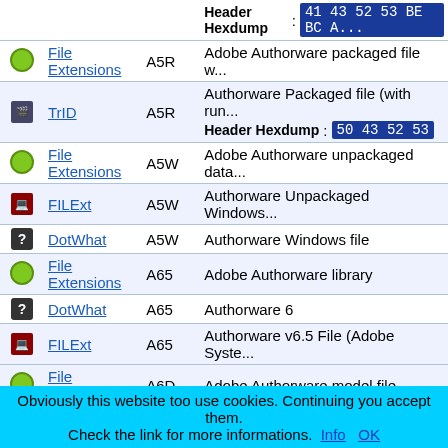| Icon | Source | Ext | Description |
| --- | --- | --- | --- |
|  | File Extensions | A5R | Adobe Authorware packaged file w... |
| TrID | TrID | A5R | Authorware Packaged file (with run... Header Hexdump: 50 43 52 53 |
|  | File Extensions | A5W | Adobe Authorware unpackaged data... |
| laptop | FILExt | A5W | Authorware Unpackaged Windows... |
| ? | DotWhat | A5W | Authorware Windows file |
|  | File Extensions | A65 | Adobe Authorware library |
| ? | DotWhat | A65 | Authorware 6 |
| laptop | FILExt | A65 | Authorware v6.5 File (Adobe Syste... |
|  | File Extensions | A6D | Adobe Authorware model file |
|  | File Extensions | A6L | Adobe Authorware library |
|  | File Extensions | A6M | Adobe Authorware unpackaged data... |
|  | File Extensions | A6P | Adobe Authorware application |
| ? | DotWhat | A6P | Authorware 6 Program |
| info | FileInfo | A6P | Authorware 6 Program |
| laptop | FILExt | A6P | Authorware Application (Adobe Sy... |
|  | File Extensions | A6R | Adobe Authorware packaged file w... |
Obviously this website too use cookies. Continuing you accept them. Check the link for more informations.  Info   OK